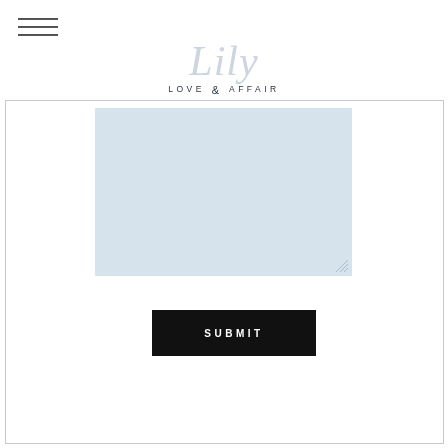[Figure (logo): Lily Love Affair brand logo with stylized script 'Lily' in light gray and 'LOVE AFFAIR' in small caps below]
[Figure (screenshot): Web form page showing a textarea input field with light blue background and a black SUBMIT button below, all within a bordered container box. A hamburger menu icon appears in the top-left.]